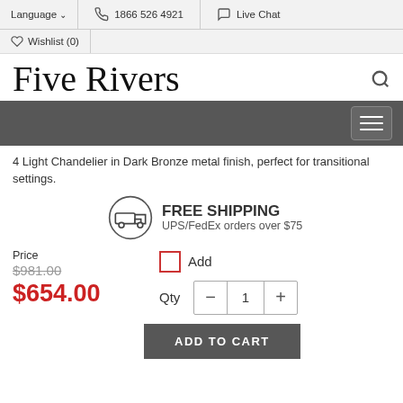Language  |  1866 526 4921  |  Live Chat  |  Wishlist (0)
Five Rivers
[Figure (screenshot): Navigation bar with hamburger menu icon on dark gray background]
4 Light Chandelier in Dark Bronze metal finish, perfect for transitional settings.
FREE SHIPPING — UPS/FedEx orders over $75
Price
$981.00
$654.00
Add  Qty  1
ADD TO CART